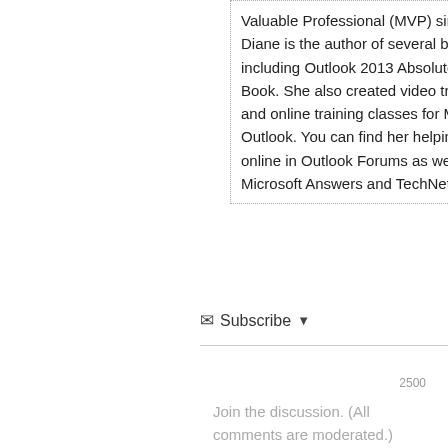Valuable Professional (MVP) since 1999, Diane is the author of several books, including Outlook 2013 Absolute Beginners Book. She also created video training CDs and online training classes for Microsoft Outlook. You can find her helping people online in Outlook Forums as well as in the Microsoft Answers and TechNet forums.
Subscribe
Join the discussion. (All comments are moderated.)